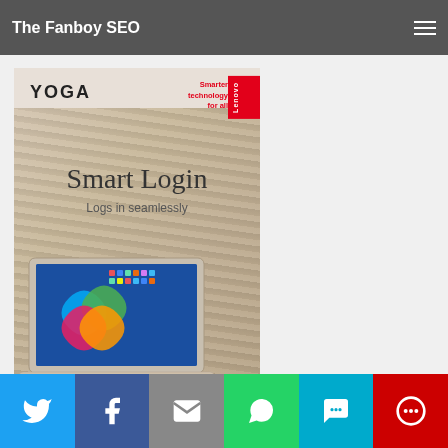The Fanboy SEO
[Figure (photo): Hero image strip showing a partial animal/nature photo at top of page]
[Figure (photo): Lenovo Yoga advertisement banner. Shows YOGA logo, Lenovo badge in red, text 'Smarter technology for all', 'Smart Login', 'Logs in seamlessly', and a Lenovo Yoga laptop with Windows 11 interface on sandy background.]
[Figure (other): Social share bar at bottom with Twitter, Facebook, Email, WhatsApp, SMS, and More buttons]